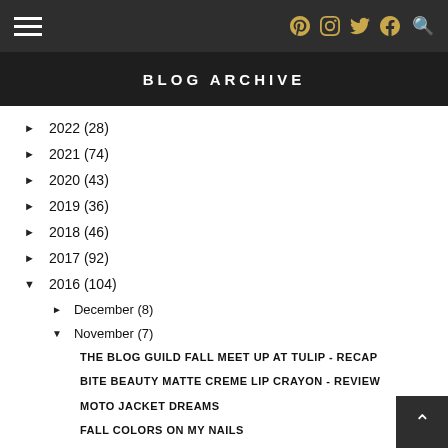Navigation bar with hamburger menu and social icons
BLOG ARCHIVE
► 2022 (28)
► 2021 (74)
► 2020 (43)
► 2019 (36)
► 2018 (46)
► 2017 (92)
▼ 2016 (104)
► December (8)
▼ November (7)
THE BLOG GUILD FALL MEET UP AT TULIP - RECAP
BITE BEAUTY MATTE CREME LIP CRAYON - REVIEW
MOTO JACKET DREAMS
FALL COLORS ON MY NAILS